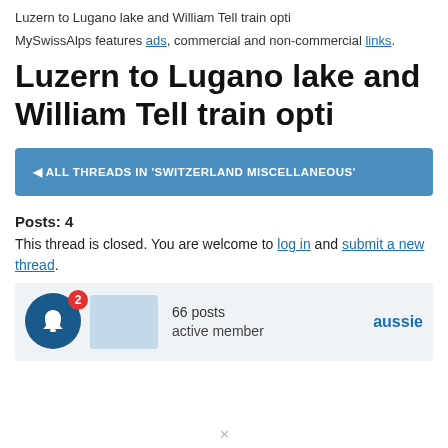Luzern to Lugano lake and William Tell train opti
MySwissAlps features ads, commercial and non-commercial links.
Luzern to Lugano lake and William Tell train opti
ALL THREADS IN 'SWITZERLAND MISCELLANEOUS'
Posts: 4
This thread is closed. You are welcome to log in and submit a new thread.
66 posts
active member
aussie